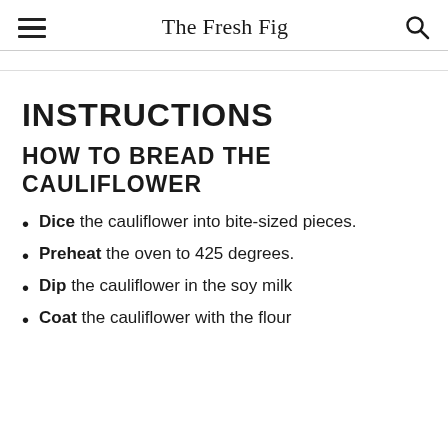The Fresh Fig
...
INSTRUCTIONS
HOW TO BREAD THE CAULIFLOWER
Dice the cauliflower into bite-sized pieces.
Preheat the oven to 425 degrees.
Dip the cauliflower in the soy milk
Coat the cauliflower with the flour